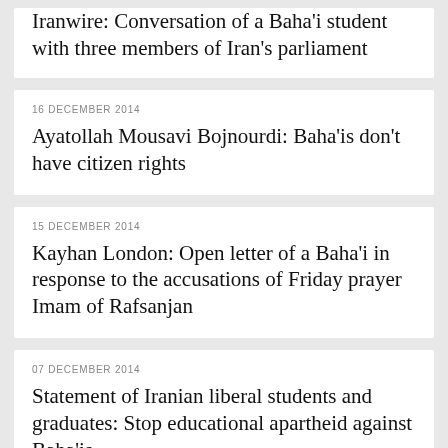Iranwire: Conversation of a Baha'i student with three members of Iran's parliament
16 DECEMBER 2014
Ayatollah Mousavi Bojnourdi: Baha'is don't have citizen rights
15 DECEMBER 2014
Kayhan London: Open letter of a Baha'i in response to the accusations of Friday prayer Imam of Rafsanjan
07 DECEMBER 2014
Statement of Iranian liberal students and graduates: Stop educational apartheid against Baha'is
23 NOVEMBER 2014